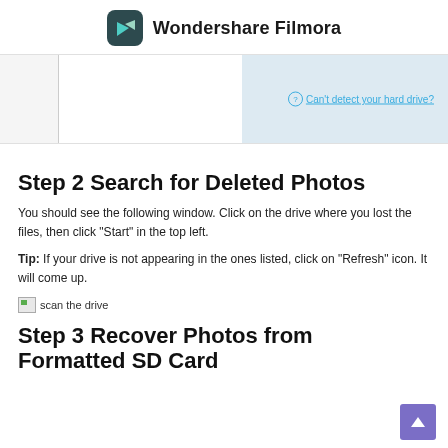Wondershare Filmora
[Figure (screenshot): Partial screenshot of Wondershare Filmora recovery interface showing a split panel with white left area and light blue right area containing a 'Can't detect your hard drive?' link]
Step 2 Search for Deleted Photos
You should see the following window. Click on the drive where you lost the files, then click "Start" in the top left.
Tip: If your drive is not appearing in the ones listed, click on "Refresh" icon. It will come up.
[Figure (screenshot): Broken image placeholder showing 'scan the drive']
Step 3 Recover Photos from Formatted SD Card